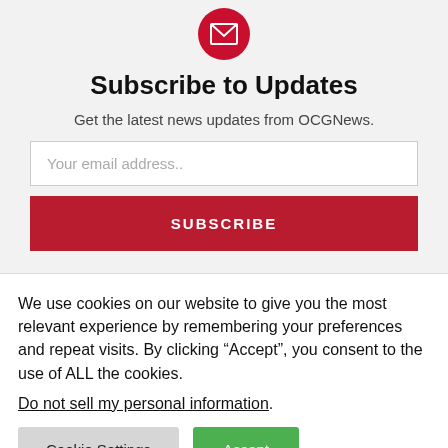[Figure (illustration): Red circle icon with white envelope/mail symbol]
Subscribe to Updates
Get the latest news updates from OCGNews.
Your email address..
SUBSCRIBE
We use cookies on our website to give you the most relevant experience by remembering your preferences and repeat visits. By clicking “Accept”, you consent to the use of ALL the cookies.
Do not sell my personal information.
Cookie Settings
Accept